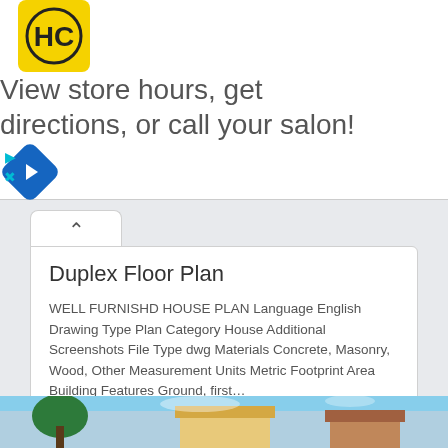[Figure (screenshot): Advertisement banner with HC (Hair Club) yellow logo and text 'View store hours, get directions, or call your salon!' with a blue navigation diamond icon on the right.]
Duplex Floor Plan
WELL FURNISHD HOUSE PLAN Language English Drawing Type Plan Category House Additional Screenshots File Type dwg Materials Concrete, Masonry, Wood, Other Measurement Units Metric Footprint Area Building Features Ground, first…
$20.00
PSS
[Figure (photo): Partial view of a house exterior photograph showing a modern duplex building with teal/blue sky background and trees on the left side.]